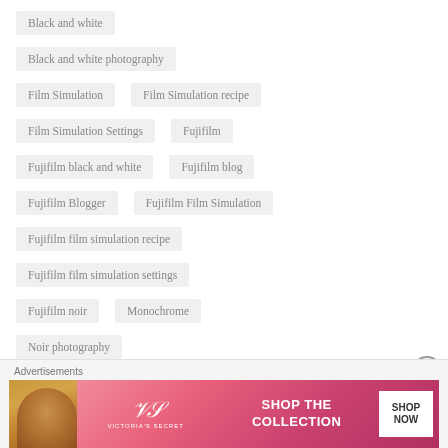Black and white
Black and white photography
Film Simulation
Film Simulation recipe
Film Simulation Settings
Fujifilm
Fujifilm black and white
Fujifilm blog
Fujifilm Blogger
Fujifilm Film Simulation
Fujifilm film simulation recipe
Fujifilm film simulation settings
Fujifilm noir
Monochrome
Noir photography
Advertisements
[Figure (illustration): Victoria's Secret advertisement banner with pink background, model photo, VS logo, 'SHOP THE COLLECTION' text, and 'SHOP NOW' button]